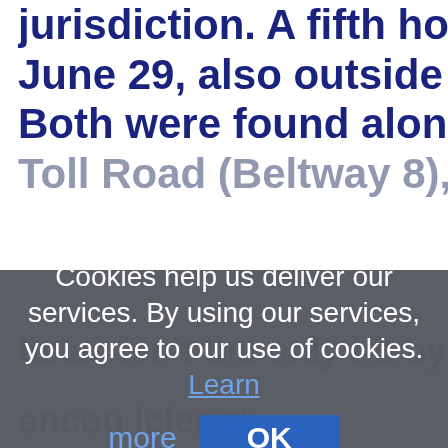jurisdiction. A fifth horse was killed June 29, also outside of the city. Both were found along the Sam Toll Road (Beltway 8), police said.
Cookies help us deliver our services. By using our services, you agree to our use of cookies. Learn more  OK